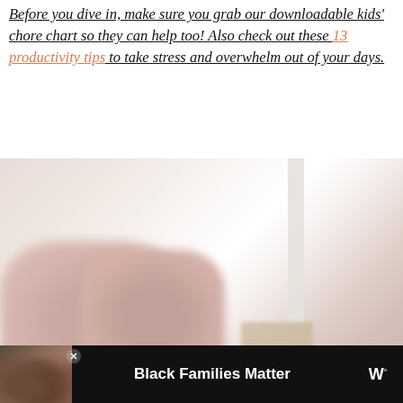Before you dive in, make sure you grab our downloadable kids' chore chart so they can help too! Also check out these 13 productivity tips to take stress and overwhelm out of your days.
[Figure (photo): Blurred lifestyle photo of a light pink/white sofa or bed with pink pillows and a wooden box/drawer, soft light from a window in the background. Social media UI overlaid: heart (save) button, share button, and a 'What's Next' card showing 'House Cleaning...' with a thumbnail.]
[Figure (screenshot): Bottom advertisement bar with black background. Left: photo of smiling Black family (three faces). Center text: 'Black Families Matter'. Right: stylized W logo with degree symbol.]